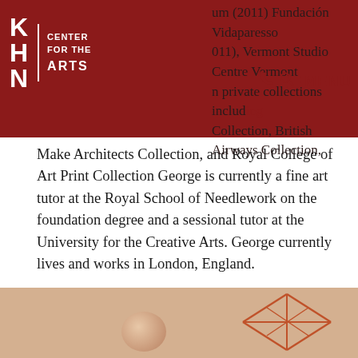KHN Center for the Arts — header with logo and MENU
um (2011) Foundación Vidaparesso (2011), Vermont Studio Centre Vermont in private collections including Collection, British Airways Collection, Make Architects Collection, and Royal College of Art Print Collection George is currently a fine art tutor at the Royal School of Needlework on the foundation degree and a sessional tutor at the University for the Creative Arts. George currently lives and works in London, England.
PERMANENT COLLECTION: Untitled
Untitled
BACK TO ALL RESIDENTS
[Figure (photo): Bottom portion of page showing a beige/warm-toned background with an orange geometric wireframe diamond/rhombus shape on the right and a spherical object on the left]